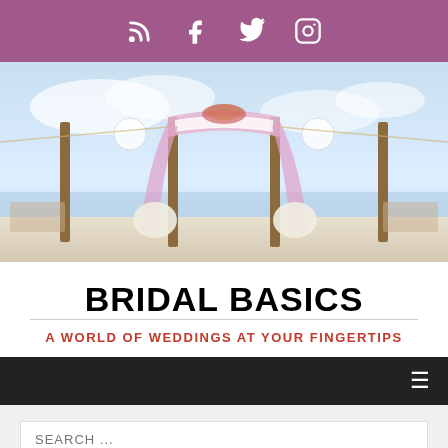[Figure (other): Purple social media bar with RSS, Facebook, Twitter, and Instagram icons in white]
[Figure (photo): Wedding chuppah/arch with white and pink draping and floral decorations, outdoor seaside setting]
BRIDAL BASICS
A WORLD OF WEDDINGS AT YOUR FINGERTIPS
[Figure (other): Dark navigation bar with hamburger menu icon on the right]
SEARCH ...
HOME > WEDDING > TRADITIONS > Jewish Weddings- The Ketubah